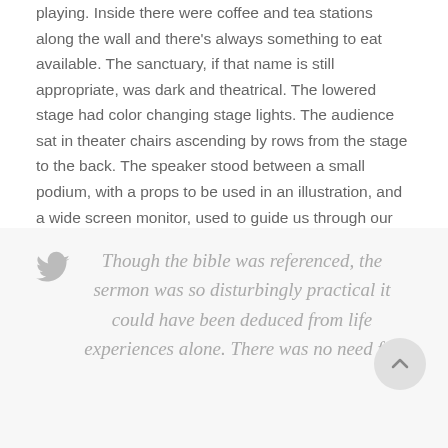playing. Inside there were coffee and tea stations along the wall and there's always something to eat available. The sanctuary, if that name is still appropriate, was dark and theatrical. The lowered stage had color changing stage lights. The audience sat in theater chairs ascending by rows from the stage to the back. The speaker stood between a small podium, with a props to be used in an illustration, and a wide screen monitor, used to guide us through our fill-in-the-blank sermon guide. It felt more like a TED Talk than a sermon. It was just so, … reasonable.
Though the bible was referenced, the sermon was so disturbingly practical it could have been deduced from life experiences alone. There was no need for